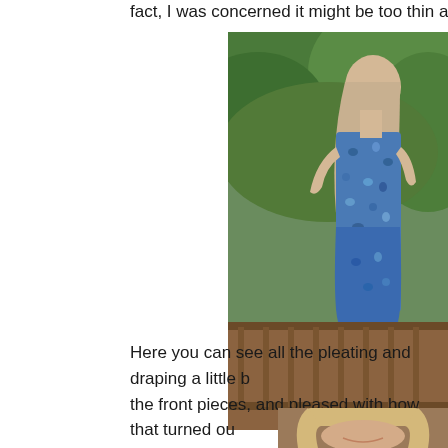fact, I was concerned it might be too thin and need a li
[Figure (photo): Woman with long blonde hair wearing a blue patterned sleeveless dress, standing on a wooden deck surrounded by green trees, viewed from the side/back.]
Here you can see all the pleating and draping a little b the front pieces, and pleased with how that turned ou particular fabric pattern at the front.
[Figure (photo): Partial view of a smiling blonde woman, cropped at bottom of page.]